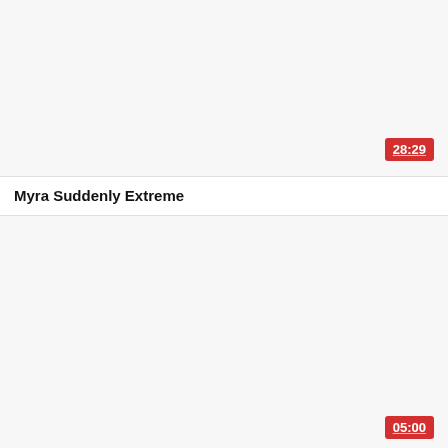[Figure (screenshot): Video thumbnail placeholder, light gray background, with red duration badge showing 28:29]
Myra Suddenly Extreme
[Figure (screenshot): Video thumbnail placeholder, light gray background, with red duration badge showing 05:00]